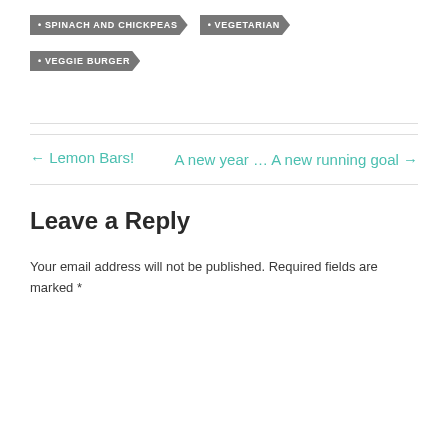• SPINACH AND CHICKPEAS
• VEGETARIAN
• VEGGIE BURGER
← Lemon Bars!
A new year … A new running goal →
Leave a Reply
Your email address will not be published. Required fields are marked *